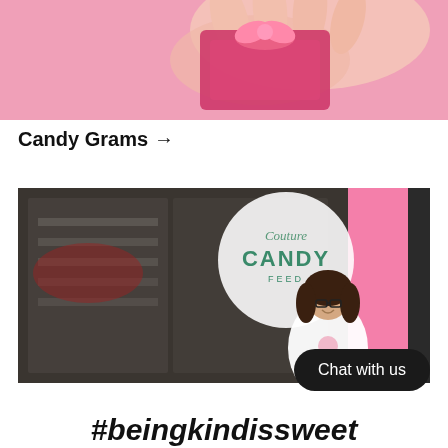[Figure (photo): A hand holding a pink candy gram package against a pink background]
Candy Grams →
[Figure (photo): A woman in a white hoodie standing in front of the Couture Candy store with a pink exterior wall and glass storefront]
Chat with us
#beingkindissweet